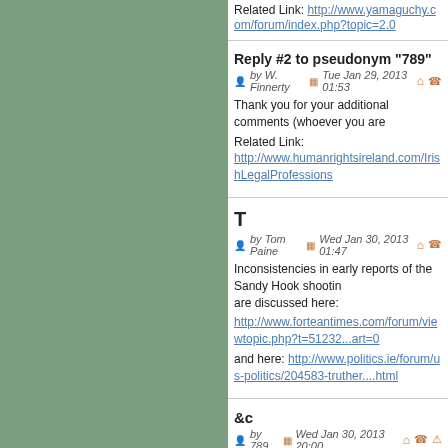Related Link: http://www.yamaguchy.com/forum/index.php?topic=2.0
Reply #2 to pseudonym "789"
by W. Finnerty  Tue Jan 29, 2013 01:53
Thank you for your additional comments (whoever you are
Related Link: http://www.humanrightsireland.com/IrishLegalProfessions
T
by Tom Paine  Wed Jan 30, 2013 01:47
Inconsistencies in early reports of the Sandy Hook shooting are discussed here:
http://www.forteantimes.com/forum/viewtopic.php?t=51232...art=0
and here: http://www.politics.ie/forum/us-politics/204583-truther....html
&c
by 789  Wed Jan 30, 2013 20:00
@ user_name finnerty